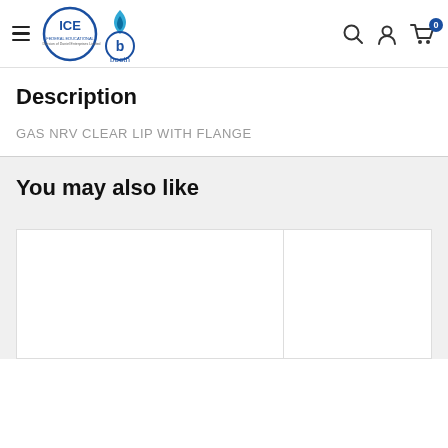ICE Booth — navigation header with hamburger menu, logo, search, account, and cart icons
Description
GAS NRV CLEAR LIP WITH FLANGE
You may also like
[Figure (other): Two product card placeholders side by side, white background with border]